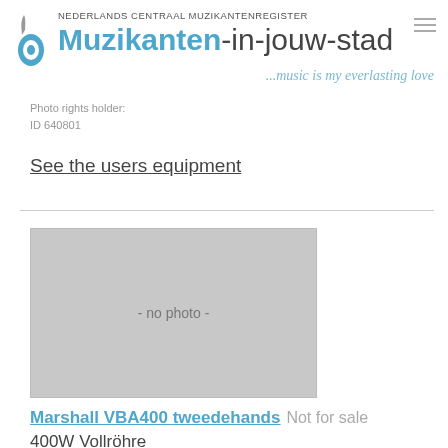NEDERLANDS CENTRAAL MUZIKANTENREGISTER
Muzikanten-in-jouw-stad
...music is my everlasting love
Photo rights holder:
ID 640801
See the users equipment
[Figure (other): Placeholder image box with text '- no photo -']
Marshall VBA400 tweedehands   Not for sale
400W Vollröhre